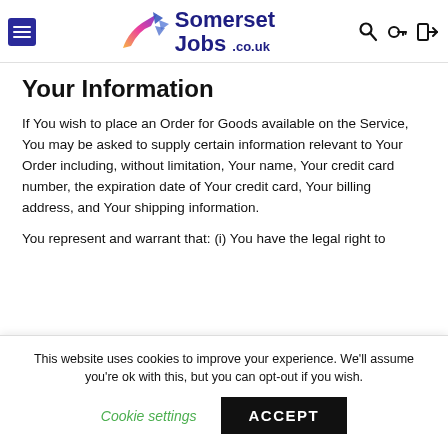SomersetJobs.co.uk
Your Information
If You wish to place an Order for Goods available on the Service, You may be asked to supply certain information relevant to Your Order including, without limitation, Your name, Your credit card number, the expiration date of Your credit card, Your billing address, and Your shipping information.
You represent and warrant that: (i) You have the legal right to
This website uses cookies to improve your experience. We'll assume you're ok with this, but you can opt-out if you wish.
Cookie settings
ACCEPT